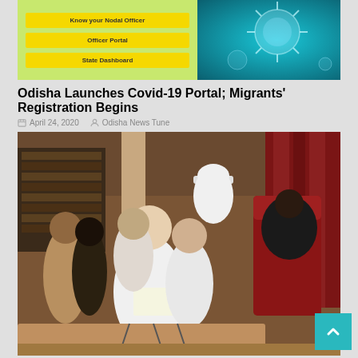[Figure (screenshot): COVID-19 portal screenshot showing buttons: Know your Nodal Officer, Officer Portal, State Dashboard on yellow background; right side shows virus illustration on teal background]
Odisha Launches Covid-19 Portal; Migrants' Registration Begins
April 24, 2020   Odisha News Tune
[Figure (photo): Indoor assembly hall scene with several people including officials in white clothing, a man in police uniform with cap, a man in tan clothes, and a person in dark clothing near a red chair. A wooden desk with microphones is in the foreground, bookshelf and red curtain in background, tan column visible.]
First Session Of New Odisha Assembly Begins, MLAs Including CM Take Oath
May 30, 2019   Odisha News Tune